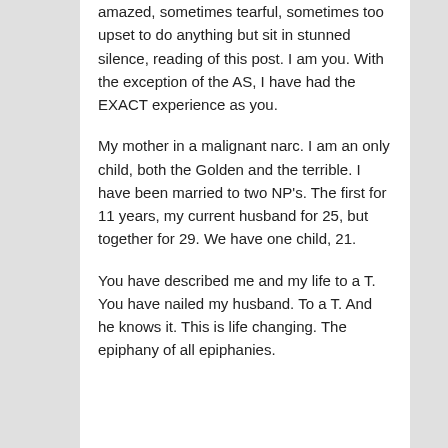amazed, sometimes tearful, sometimes too upset to do anything but sit in stunned silence, reading of this post. I am you. With the exception of the AS, I have had the EXACT experience as you.
My mother in a malignant narc. I am an only child, both the Golden and the terrible. I have been married to two NP's. The first for 11 years, my current husband for 25, but together for 29. We have one child, 21.
You have described me and my life to a T. You have nailed my husband. To a T. And he knows it. This is life changing. The epiphany of all epiphanies.